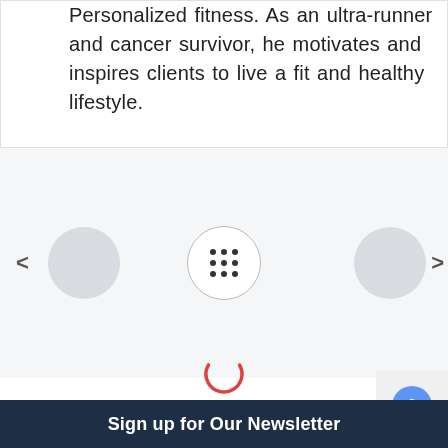Personalized Fitness. As an ultra-runner and cancer survivor, he motivates and inspires clients to live a fit and healthy lifestyle.
[Figure (other): Carousel section with navigation arrows, two filled grey circular avatar placeholders on left and right, and a centered circle with a 3x3 dots grid icon in the middle. Light grey background.]
[Figure (other): Loading spinner — a red partial circle arc indicating content loading, positioned in the center of the page.]
[Figure (other): reCAPTCHA widget box in the lower right corner showing the reCAPTCHA logo icon.]
Sign up for Our Newsletter